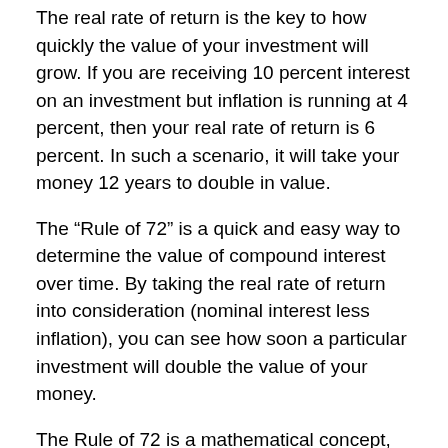The real rate of return is the key to how quickly the value of your investment will grow. If you are receiving 10 percent interest on an investment but inflation is running at 4 percent, then your real rate of return is 6 percent. In such a scenario, it will take your money 12 years to double in value.
The “Rule of 72” is a quick and easy way to determine the value of compound interest over time. By taking the real rate of return into consideration (nominal interest less inflation), you can see how soon a particular investment will double the value of your money.
The Rule of 72 is a mathematical concept, and the hypothetical return illustrated is not representative of a specific investment. Also note that the principal and yield of securities will fluctuate with changes in market conditions so that the shares, when sold, may be worth more or less than their original cost.The Rule of 72 does not include adjustments for income or taxation. It assumes that interest is compounded annually. Actual